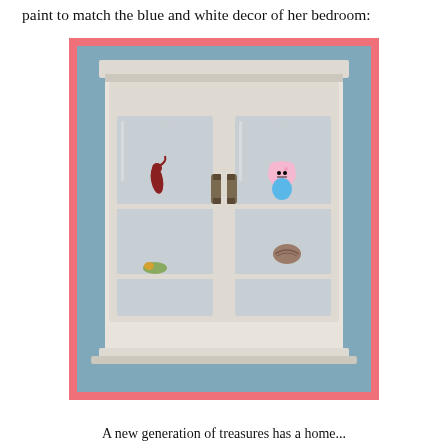paint to match the blue and white decor of her bedroom:
[Figure (photo): A white wooden display cabinet with two glass-paned doors, three shelves on each side, antique-style handles in the center, displayed against a blue wall. Items on shelves include a red seahorse figurine, a Hello Kitty plush, a shell, and small decorative objects. The photo has a pink/salmon colored border.]
A new generation of treasures has a home...